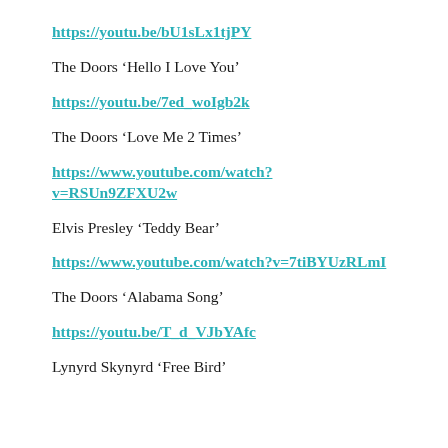https://youtu.be/bU1sLx1tjPY
The Doors ‘Hello I Love You’
https://youtu.be/7ed_woIgb2k
The Doors ‘Love Me 2 Times’
https://www.youtube.com/watch?v=RSUn9ZFXU2w
Elvis Presley ‘Teddy Bear’
https://www.youtube.com/watch?v=7tiBYUzRLmI
The Doors ‘Alabama Song’
https://youtu.be/T_d_VJbYAfc
Lynyrd Skynyrd ‘Free Bird’